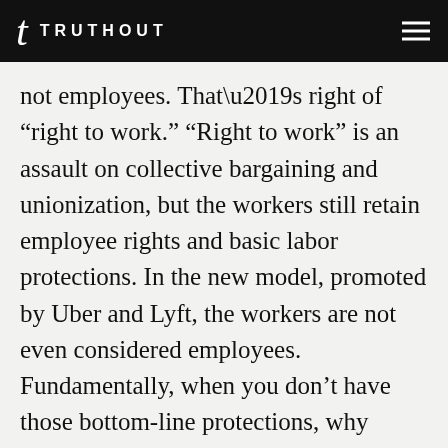TRUTHOUT
not employees. That’s right of “right to work.” “Right to work” is an assault on collective bargaining and unionization, but the workers still retain employee rights and basic labor protections. In the new model, promoted by Uber and Lyft, the workers are not even considered employees. Fundamentally, when you don’t have those bottom-line protections, why would a minimum wage law matter?
I saw a quote by an Uber driver in Los Angeles in response to the donations that Uber and Lyft had